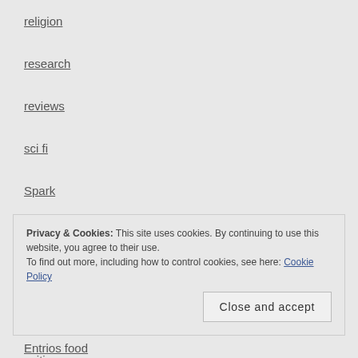religion
research
reviews
sci fi
Spark
trailers
tv
Uncategorized
writing
Privacy & Cookies: This site uses cookies. By continuing to use this website, you agree to their use. To find out more, including how to control cookies, see here: Cookie Policy
Close and accept
Entrios food